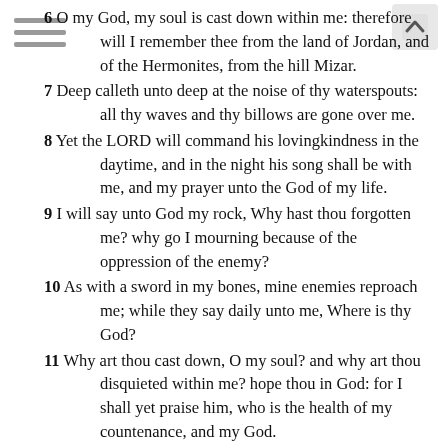6 O my God, my soul is cast down within me: therefore will I remember thee from the land of Jordan, and of the Hermonites, from the hill Mizar.
7 Deep calleth unto deep at the noise of thy waterspouts: all thy waves and thy billows are gone over me.
8 Yet the LORD will command his lovingkindness in the daytime, and in the night his song shall be with me, and my prayer unto the God of my life.
9 I will say unto God my rock, Why hast thou forgotten me? why go I mourning because of the oppression of the enemy?
10 As with a sword in my bones, mine enemies reproach me; while they say daily unto me, Where is thy God?
11 Why art thou cast down, O my soul? and why art thou disquieted within me? hope thou in God: for I shall yet praise him, who is the health of my countenance, and my God.